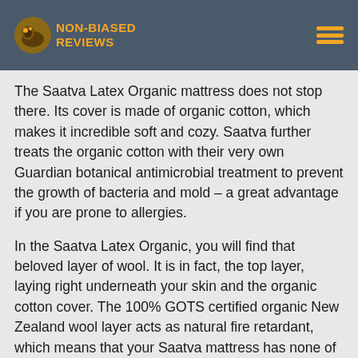NON-BIASED REVIEWS
The Saatva Latex Organic mattress does not stop there. Its cover is made of organic cotton, which makes it incredible soft and cozy. Saatva further treats the organic cotton with their very own Guardian botanical antimicrobial treatment to prevent the growth of bacteria and mold – a great advantage if you are prone to allergies.
In the Saatva Latex Organic, you will find that beloved layer of wool. It is in fact, the top layer, laying right underneath your skin and the organic cotton cover. The 100% GOTS certified organic New Zealand wool layer acts as natural fire retardant, which means that your Saatva mattress has none of the toxic chemical fire retardants. The wool keeps you from sweating at night and acts as another clean and hypoallergenic layer in the mattress.
Saatva Sleep Trial – 180 nights